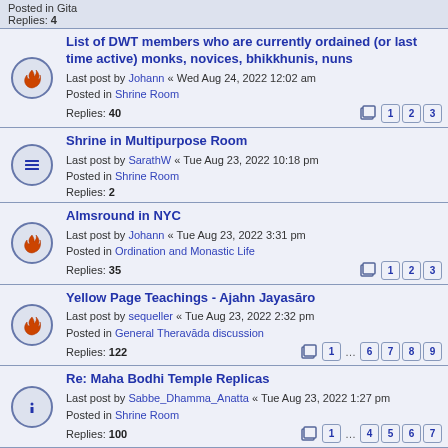Posted in Gita
Replies: 4
List of DWT members who are currently ordained (or last time active) monks, novices, bhikkhunis, nuns
Last post by Johann « Wed Aug 24, 2022 12:02 am
Posted in Shrine Room
Replies: 40
Shrine in Multipurpose Room
Last post by SarathW « Tue Aug 23, 2022 10:18 pm
Posted in Shrine Room
Replies: 2
Almsround in NYC
Last post by Johann « Tue Aug 23, 2022 3:31 pm
Posted in Ordination and Monastic Life
Replies: 35
Yellow Page Teachings - Ajahn Jayasāro
Last post by sequeller « Tue Aug 23, 2022 2:32 pm
Posted in General Theravāda discussion
Replies: 122
Re: Maha Bodhi Temple Replicas
Last post by Sabbe_Dhamma_Anatta « Tue Aug 23, 2022 1:27 pm
Posted in Shrine Room
Replies: 100
Hindrances increase after strong concentration?
Last post by mikenz66 « Tue Aug 23, 2022 9:36 am
Posted in Samatha Bhāvana
Replies: 12